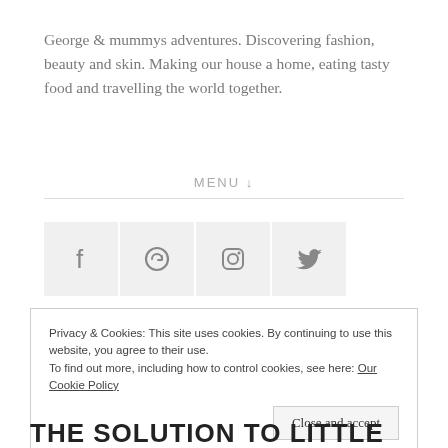George & mummys adventures. Discovering fashion, beauty and skin. Making our house a home, eating tasty food and travelling the world together.
MENU ↓
[Figure (other): Social media icon buttons: Facebook (f), circular arrow, Instagram camera, Twitter bird — grey square tiles]
Privacy & Cookies: This site uses cookies. By continuing to use this website, you agree to their use.
To find out more, including how to control cookies, see here: Our Cookie Policy
Close and accept
THE SOLUTION TO LITTLE